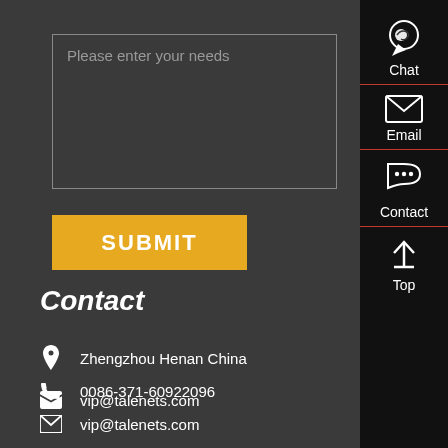Please enter your needs
SUBMIT
Contact
Zhengzhou Henan China
0086-371-60922096
vip@talenets.com
[Figure (infographic): Sidebar with Chat, Email, Contact, and Top navigation icons on black background]